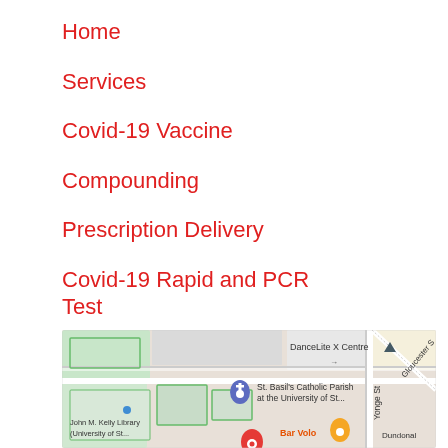Home
Services
Covid-19 Vaccine
Compounding
Prescription Delivery
Covid-19 Rapid and PCR Test
New Prescriptions & Refills
[Figure (map): Google Maps screenshot showing area around St. Basil's Catholic Parish at the University of St., John M. Kelly Library (University of St., DanceLite X Centre, Bar Volo, near Yonge St, Gloucester St, Dundonald area in Toronto]